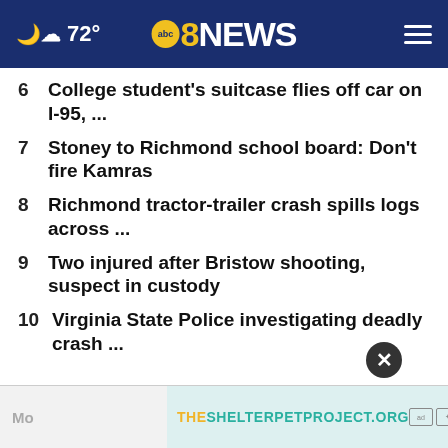72° abc8NEWS
6  College student's suitcase flies off car on I-95, ...
7  Stoney to Richmond school board: Don't fire Kamras
8  Richmond tractor-trailer crash spills logs across ...
9  Two injured after Bristow shooting, suspect in custody
10  Virginia State Police investigating deadly crash ...
[Figure (other): Advertisement banner: THESHELTERPETPROJECT.ORG]